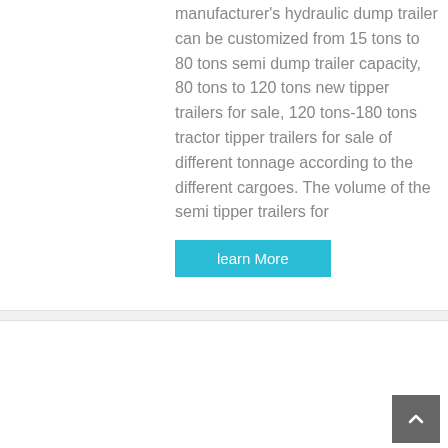manufacturer's hydraulic dump trailer can be customized from 15 tons to 80 tons semi dump trailer capacity, 80 tons to 120 tons new tipper trailers for sale, 120 tons-180 tons tractor tipper trailers for sale of different tonnage according to the different cargoes. The volume of the semi tipper trailers for
learn More
[Figure (photo): Green HOWO dump truck parked outdoors]
HOWO 30 Tons Coal Mine Work Big Dump Trucks 10 ...